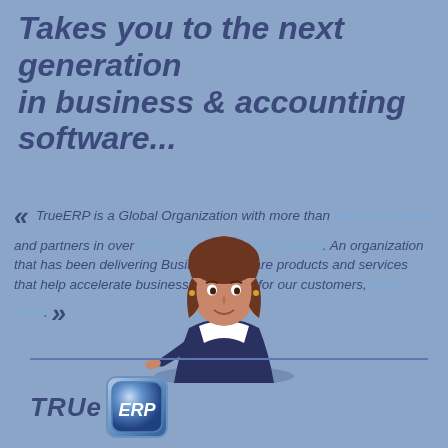Takes you to the next generation in business & accounting software...
« TrueERP is a Global Organization with more than 6000 Customers and partners in over 14 Countries Around the World. An organization that has been delivering Business Software products and services that help accelerate business innovation for our customers, since 1994. »
[Figure (logo): TrueERP logo with TRUE text and ERP in a blue rounded square icon, person illustration above]